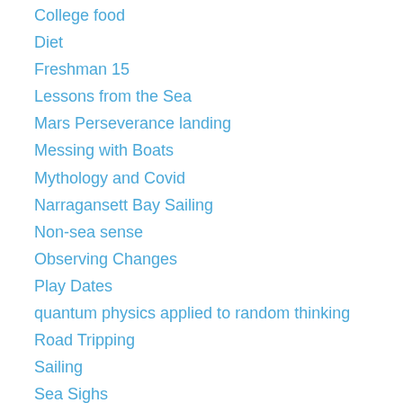College food
Diet
Freshman 15
Lessons from the Sea
Mars Perseverance landing
Messing with Boats
Mythology and Covid
Narragansett Bay Sailing
Non-sea sense
Observing Changes
Play Dates
quantum physics applied to random thinking
Road Tripping
Sailing
Sea Sighs
Simply
Simply, Messing with Boats
ultra cold
Uncategorized
Winter Seas On